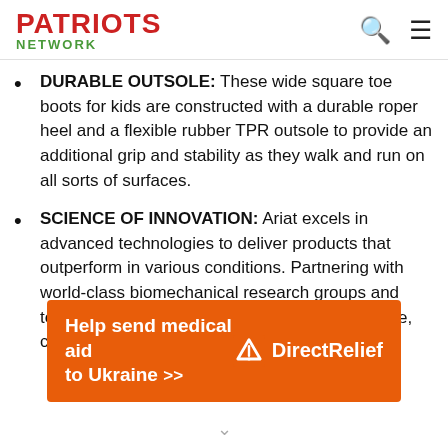PATRIOTS NETWORK
DURABLE OUTSOLE: These wide square toe boots for kids are constructed with a durable roper heel and a flexible rubber TPR outsole to provide an additional grip and stability as they walk and run on all sorts of surfaces.
SCIENCE OF INNOVATION: Ariat excels in advanced technologies to deliver products that outperform in various conditions. Partnering with world-class biomechanical research groups and testing labs, Ariat strives to improve performance, comfort, and durability.
[Figure (infographic): Orange banner advertisement: 'Help send medical aid to Ukraine >>' with Direct Relief logo on the right.]